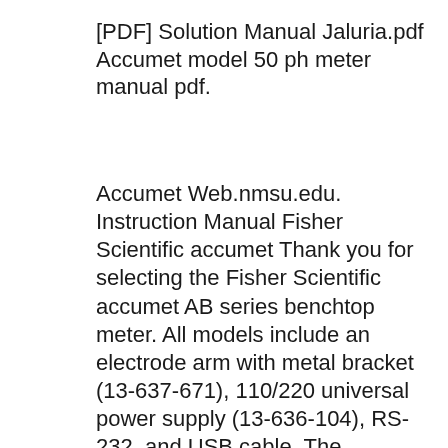[PDF] Solution Manual Jaluria.pdf Accumet model 50 ph meter manual pdf.
Accumet Web.nmsu.edu. Instruction Manual Fisher Scientific accumet Thank you for selecting the Fisher Scientific accumet AB series benchtop meter. All models include an electrode arm with metal bracket (13-637-671), 110/220 universal power supply (13-636-104), RS-232, and USB cable. The electrode arm can be attached to the left, right, or center of the meter according to your preference using a Phillips, Guide,2013 dodge charger srt8 manual transmission,fisher scientific education ph meter manual,freightliner parts